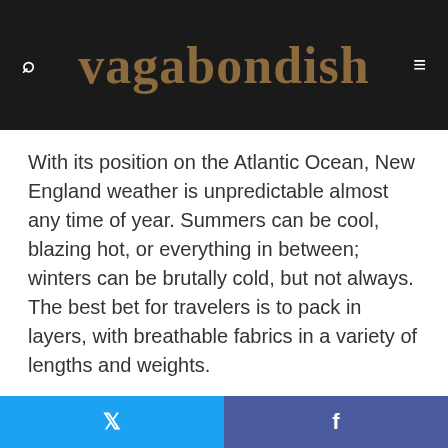vagabondish
With its position on the Atlantic Ocean, New England weather is unpredictable almost any time of year. Summers can be cool, blazing hot, or everything in between; winters can be brutally cold, but not always. The best bet for travelers is to pack in layers, with breathable fabrics in a variety of lengths and weights.
Find Cheap Things to Do on the Charles River